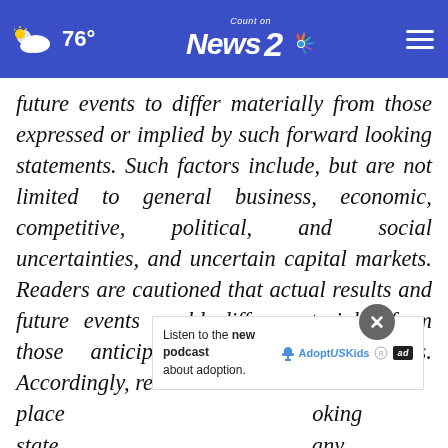76° Count on News 2 NBC
future events to differ materially from those expressed or implied by such forward looking statements. Such factors include, but are not limited to general business, economic, competitive, political, and social uncertainties, and uncertain capital markets. Readers are cautioned that actual results and future events could differ materially from those anticipated in such statements. Accordingly, readers should not place [undue reliance on these forward-] looking state[ments. The Company disclaims] any
[Figure (screenshot): Advertisement banner: 'Listen to the new podcast about adoption.' with Adopt US Kids logo and ad badge]